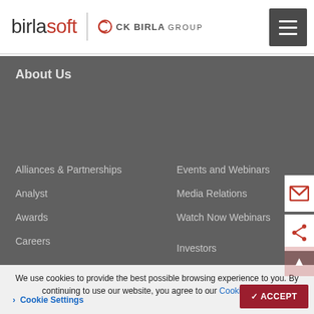birlasoft | CK BIRLA GROUP
About Us
Alliances & Partnerships
Analyst
Awards
Careers
Events and Webinars
Media Relations
Watch Now Webinars
Investors
News
Resources
We use cookies to provide the best possible browsing experience to you. By continuing to use our website, you agree to our Cookie Policy.
Cookie Settings
ACCEPT